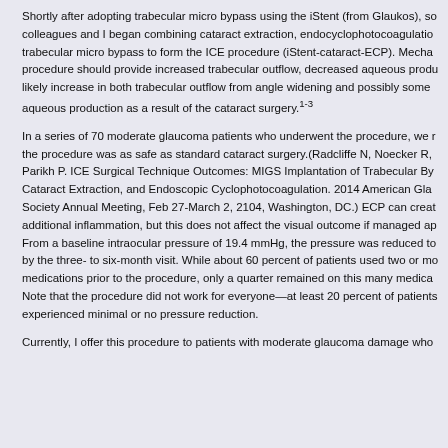Shortly after adopting trabecular micro bypass using the iStent (from Glaukos), so colleagues and I began combining cataract extraction, endocyclophotocoagulatio trabecular micro bypass to form the ICE procedure (iStent-cataract-ECP). Mecha procedure should provide increased trabecular outflow, decreased aqueous produ likely increase in both trabecular outflow from angle widening and possibly some aqueous production as a result of the cataract surgery.1-3
In a series of 70 moderate glaucoma patients who underwent the procedure, we r the procedure was as safe as standard cataract surgery.(Radcliffe N, Noecker R, Parikh P. ICE Surgical Technique Outcomes: MIGS Implantation of Trabecular By Cataract Extraction, and Endoscopic Cyclophotocoagulation. 2014 American Gla Society Annual Meeting, Feb 27-March 2, 2104, Washington, DC.) ECP can creat additional inflammation, but this does not affect the visual outcome if managed ap From a baseline intraocular pressure of 19.4 mmHg, the pressure was reduced to by the three- to six-month visit. While about 60 percent of patients used two or mo medications prior to the procedure, only a quarter remained on this many medica Note that the procedure did not work for everyone—at least 20 percent of patients experienced minimal or no pressure reduction.
Currently, I offer this procedure to patients with moderate glaucoma damage who